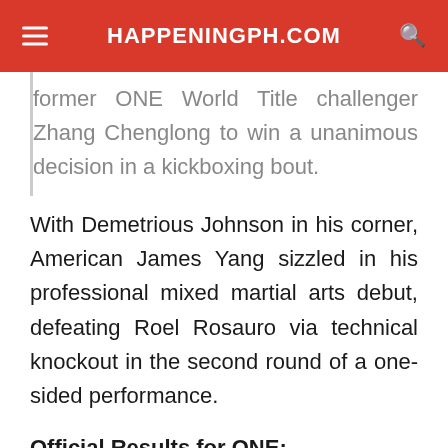HAPPENINGPH.COM
former ONE World Title challenger Zhang Chenglong to win a unanimous decision in a kickboxing bout.
With Demetrious Johnson in his corner, American James Yang sizzled in his professional mixed martial arts debut, defeating Roel Rosauro via technical knockout in the second round of a one-sided performance.
Official Results for ONE: REVOLUTION